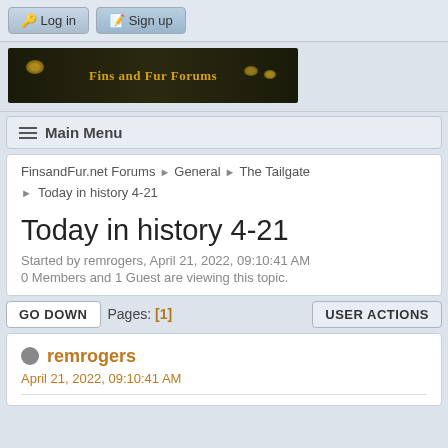Log in | Sign up
[Figure (logo): Fins and Fur Forums banner with animal eyes on dark background]
≡ Main Menu
FinsandFur.net Forums ► General ► The Tailgate ► Today in history 4-21
Today in history 4-21
Started by remrogers, April 21, 2022, 09:10:41 AM
0 Members and 1 Guest are viewing this topic.
GO DOWN   Pages: [1]   USER ACTIONS
remrogers
April 21, 2022, 09:10:41 AM